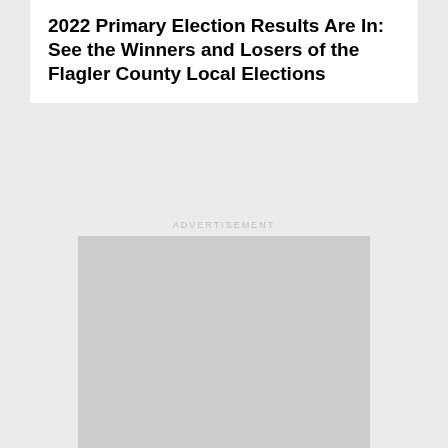2022 Primary Election Results Are In: See the Winners and Losers of the Flagler County Local Elections
ADVERTISEMENT
[Figure (other): Gray advertisement placeholder box]